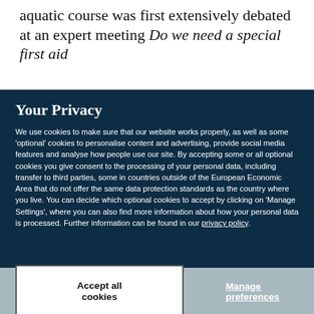aquatic course was first extensively debated at an expert meeting Do we need a special first aid
Your Privacy
We use cookies to make sure that our website works properly, as well as some 'optional' cookies to personalise content and advertising, provide social media features and analyse how people use our site. By accepting some or all optional cookies you give consent to the processing of your personal data, including transfer to third parties, some in countries outside of the European Economic Area that do not offer the same data protection standards as the country where you live. You can decide which optional cookies to accept by clicking on 'Manage Settings', where you can also find more information about how your personal data is processed. Further information can be found in our privacy policy.
Accept all cookies
Manage preferences